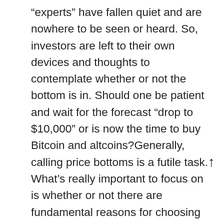“experts” have fallen quiet and are nowhere to be seen or heard. So, investors are left to their own devices and thoughts to contemplate whether or not the bottom is in. Should one be patient and wait for the forecast “drop to $10,000” or is now the time to buy Bitcoin and altcoins?Generally, calling price bottoms is a futile task. What’s really important to focus on is whether or not there are fundamental reasons for choosing to or not to invest in Bitcoin. Sure, price has changed drastically, but have Bitcoin’s network fundamentals and the infrastructure surrounding Bitcoin as an asset improved or degraded? It’s important to zoom in on this data because for investors, this is where one should be sourcing their confidence and investment thesis. This is exactly why Cointelegraph hosted a Twitter Spaces with analysts Joe Burnett of Blockware Solutions and Colin Harper of Luxor Mining. Here’s a few